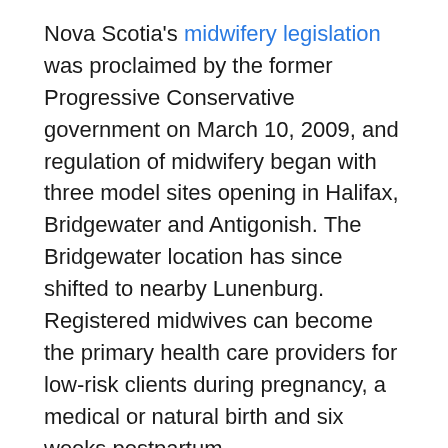Nova Scotia's midwifery legislation was proclaimed by the former Progressive Conservative government on March 10, 2009, and regulation of midwifery began with three model sites opening in Halifax, Bridgewater and Antigonish. The Bridgewater location has since shifted to nearby Lunenburg. Registered midwives can become the primary health care providers for low-risk clients during pregnancy, a medical or natural birth and six weeks postpartum.
While there are 12 funded midwife positions, the province only has nine midwives and no additional sites have been added to expand the program. According to the Nova Scotia